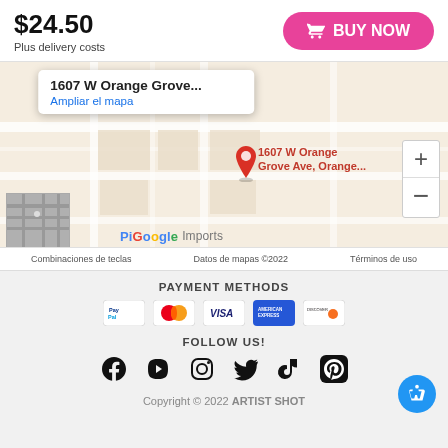$24.50
Plus delivery costs
BUY NOW
[Figure (map): Google Maps screenshot showing location at 1607 W Orange Grove Ave, Orange. Map popup shows address and Ampliar el mapa link. Red pin marker on map. Zoom controls on right. Google logo and 'Pingoose Imports' label visible. Footer bar shows: Combinaciones de teclas | Datos de mapas ©2022 | Términos de uso]
PAYMENT METHODS
[Figure (infographic): Payment method icons: PayPal, Mastercard, Visa, American Express, Discover]
FOLLOW US!
[Figure (infographic): Social media icons: Facebook, YouTube, Instagram, Twitter, TikTok, Pinterest]
Copyright © 2022 ARTIST SHOT